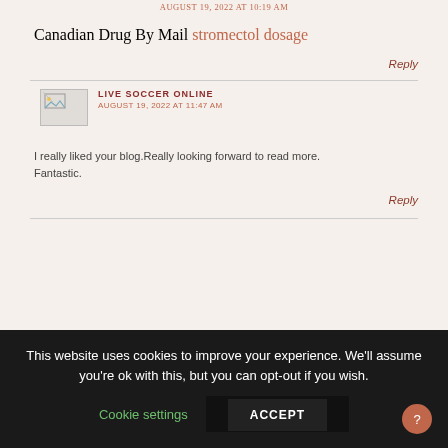AUGUST 19, 2022 AT 10:19 AM
Canadian Drug By Mail stromectol dosage
Reply
LIVE SOCCER ONLINE
AUGUST 19, 2022 AT 11:47 AM
I really liked your blog.Really looking forward to read more. Fantastic.
Reply
This website uses cookies to improve your experience. We'll assume you're ok with this, but you can opt-out if you wish.
Cookie settings
ACCEPT